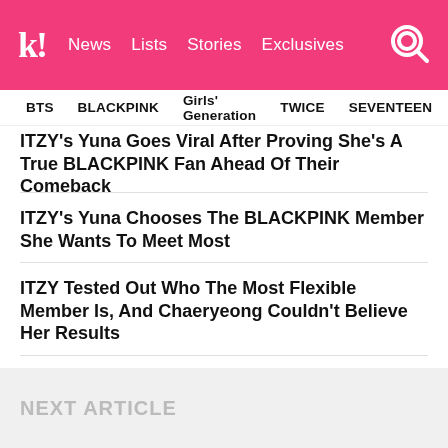Koreaboo | News | Lists | Stories | Exclusives
BTS    BLACKPINK    Girls' Generation    TWICE    SEVENTEEN
ITZY's Yuna Goes Viral After Proving She's A True BLACKPINK Fan Ahead Of Their Comeback
ITZY's Yuna Chooses The BLACKPINK Member She Wants To Meet Most
ITZY Tested Out Who The Most Flexible Member Is, And Chaeryeong Couldn't Believe Her Results
BLACKPINK's Jennie To Make Her Acting Debut Under "Jennie Ruby Jane"— Here's What We Know About The Meaning Behind Her Name
Lee Soo Man Gains Attention For His Reaction Towards Girls' Generation After Their SMTOWN LIVE 2022 Performance
NEXT ARTICLE